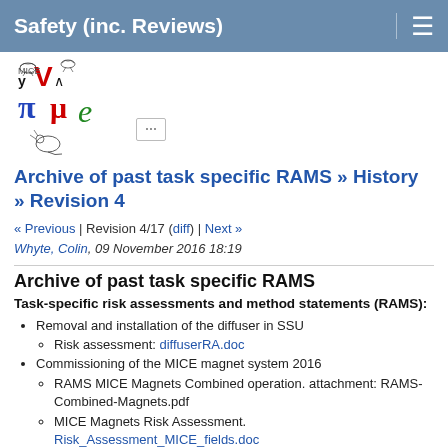Safety (inc. Reviews)
[Figure (logo): MICE experiment logo with Greek letters and animal figures, followed by a menu box with ellipsis]
Archive of past task specific RAMS » History » Revision 4
« Previous | Revision 4/17 (diff) | Next »
Whyte, Colin, 09 November 2016 18:19
Archive of past task specific RAMS
Task-specific risk assessments and method statements (RAMS):
Removal and installation of the diffuser in SSU
Risk assessment: diffuserRA.doc
Commissioning of the MICE magnet system 2016
RAMS MICE Magnets Combined operation. attachment: RAMS-Combined-Magnets.pdf
MICE Magnets Risk Assessment. Risk_Assessment_MICE_fields.doc